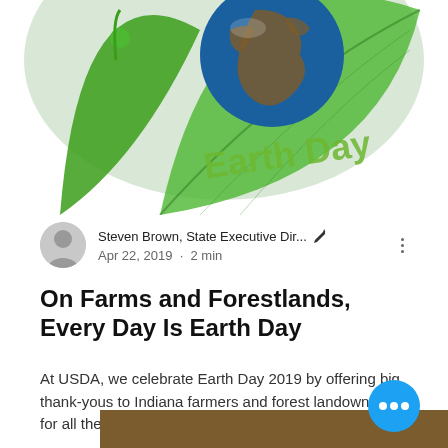[Figure (illustration): Earth Day themed illustration: a globe showing Africa/Europe resting on large green leaves with text 'Earth Day' in green lettering]
Steven Brown, State Executive Dir... · Apr 22, 2019 · 2 min
On Farms and Forestlands, Every Day Is Earth Day
At USDA, we celebrate Earth Day 2019 by offering big thank-yous to Indiana farmers and forest landowners for all they do. Ever...
19   0